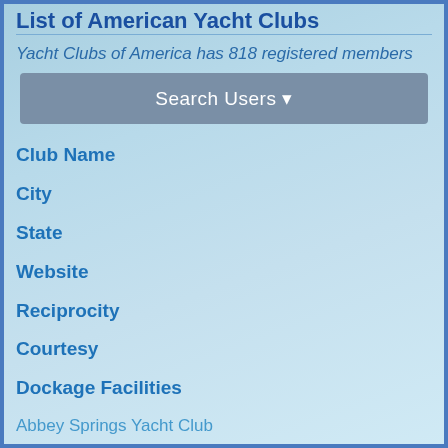List of American Yacht Clubs
Yacht Clubs of America has 818 registered members
Search Users
Club Name
City
State
Website
Reciprocity
Courtesy
Dockage Facilities
Abbey Springs Yacht Club